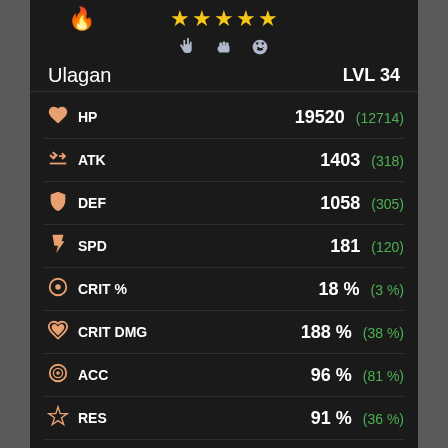[Figure (screenshot): Game character stats screen for 'Ulagan' at LVL 34 showing HP, ATK, DEF, SPD, CRIT%, CRIT DMG, ACC, RES, EHP with base and bonus values]
Ulagan
LVL 34
| Stat | Value | Bonus |
| --- | --- | --- |
| HP | 19520 | (12714) |
| ATK | 1403 | (318) |
| DEF | 1058 | (305) |
| SPD | 181 | (120) |
| CRIT % | 18 % | (3 %) |
| CRIT DMG | 188 % | (38 %) |
| ACC | 96 % | (81 %) |
| RES | 91 % | (36 %) |
| EHP | 80057 |  |